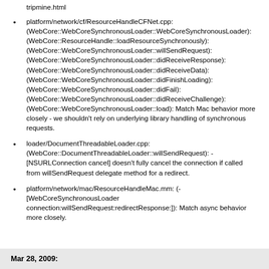platform/network/cf/ResourceHandleCFNet.cpp: (WebCore::WebCoreSynchronousLoader::WebCoreSynchronousLoader): (WebCore::ResourceHandle::loadResourceSynchronously): (WebCore::WebCoreSynchronousLoader::willSendRequest): (WebCore::WebCoreSynchronousLoader::didReceiveResponse): (WebCore::WebCoreSynchronousLoader::didReceiveData): (WebCore::WebCoreSynchronousLoader::didFinishLoading): (WebCore::WebCoreSynchronousLoader::didFail): (WebCore::WebCoreSynchronousLoader::didReceiveChallenge): (WebCore::WebCoreSynchronousLoader::load): Match Mac behavior more closely - we shouldn't rely on underlying library handling of synchronous requests.
loader/DocumentThreadableLoader.cpp: (WebCore::DocumentThreadableLoader::willSendRequest): - [NSURLConnection cancel] doesn't fully cancel the connection if called from willSendRequest delegate method for a redirect.
platform/network/mac/ResourceHandleMac.mm: (- [WebCoreSynchronousLoader connection:willSendRequest:redirectResponse:]): Match async behavior more closely.
Mar 28, 2009: